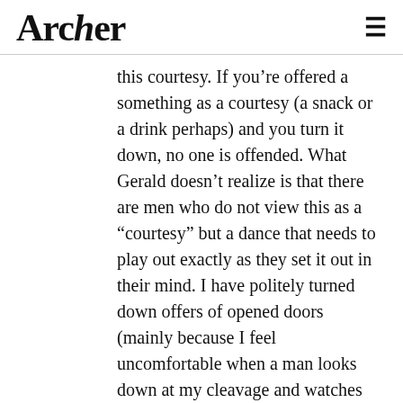Archer
this courtesy. If you’re offered a something as a courtesy (a snack or a drink perhaps) and you turn it down, no one is offended. What Gerald doesn’t realize is that there are men who do not view this as a “courtesy” but a dance that needs to play out exactly as they set it out in their mind. I have politely turned down offers of opened doors (mainly because I feel uncomfortable when a man looks down at my cleavage and watches my rear-end as I walk by, and 9 times out of 10… he pulls in close enough that I can feel his body heat and smell him…opening a door for me), and I have to say that 95% of the time, that man will be absolutely outraged that I